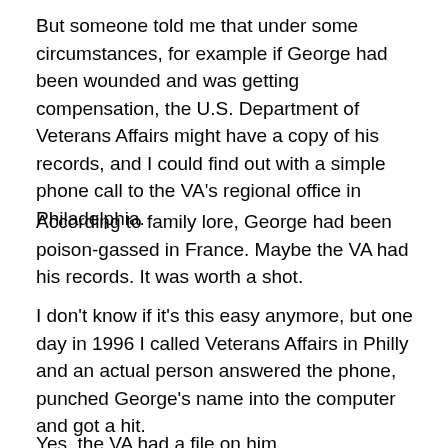But someone told me that under some circumstances, for example if George had been wounded and was getting compensation, the U.S. Department of Veterans Affairs might have a copy of his records, and I could find out with a simple phone call to the VA's regional office in Philadelphia.
According to family lore, George had been poison-gassed in France. Maybe the VA had his records. It was worth a shot.
I don't know if it's this easy anymore, but one day in 1996 I called Veterans Affairs in Philly and an actual person answered the phone, punched George's name into the computer and got a hit.
Yes, the VA had a file on him.